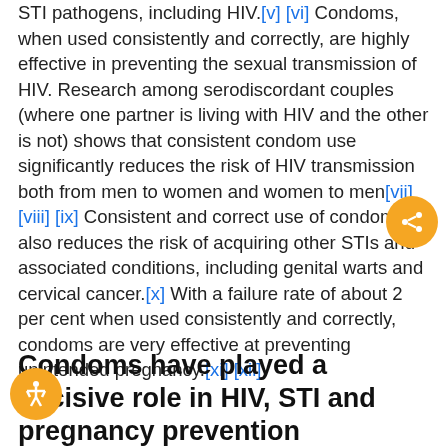STI pathogens, including HIV.[v] [vi] Condoms, when used consistently and correctly, are highly effective in preventing the sexual transmission of HIV. Research among serodiscordant couples (where one partner is living with HIV and the other is not) shows that consistent condom use significantly reduces the risk of HIV transmission both from men to women and women to men[vii] [viii] [ix] Consistent and correct use of condoms also reduces the risk of acquiring other STIs and associated conditions, including genital warts and cervical cancer.[x] With a failure rate of about 2 per cent when used consistently and correctly, condoms are very effective at preventing unintended pregnancy.[xi] [xii]
Condoms have played a decisive role in HIV, STI and pregnancy prevention